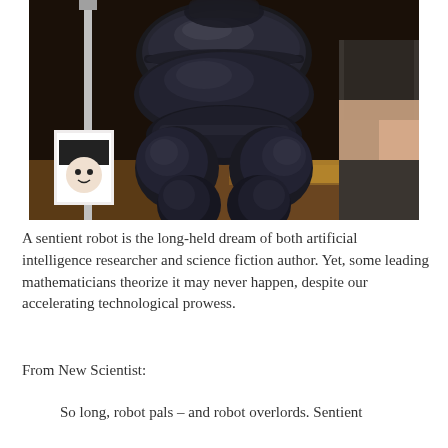[Figure (photo): A large dark metallic robot body (torso and legs), shiny black spherical/rounded segments, displayed at what appears to be a convention or exhibition hall. People visible in the background.]
A sentient robot is the long-held dream of both artificial intelligence researcher and science fiction author. Yet, some leading mathematicians theorize it may never happen, despite our accelerating technological prowess.
From New Scientist:
So long, robot pals – and robot overlords. Sentient